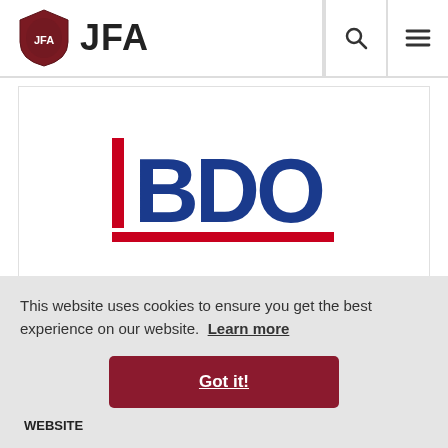JFA
[Figure (logo): BDO logo with red vertical bar on left and blue BDO text, with red underline]
BDO Limited
, JE1
This website uses cookies to ensure you get the best experience on our website.  Learn more
Got it!
WEBSITE